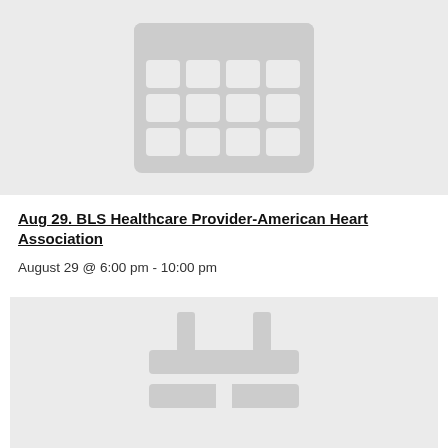[Figure (illustration): Calendar icon placeholder image with a grid of 12 squares (3 rows x 4 columns) on a light gray background]
Aug 29. BLS Healthcare Provider-American Heart Association
August 29 @ 6:00 pm - 10:00 pm
[Figure (illustration): Partially visible calendar/table icon placeholder on a light gray background, showing top portion of the icon]